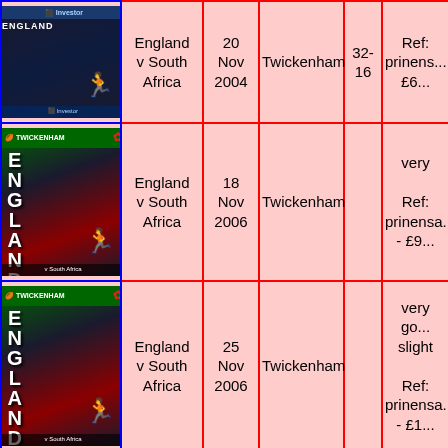| Programme Image | Match | Date | Venue | Score | Condition/Price |
| --- | --- | --- | --- | --- | --- |
| [programme image] | England v South Africa | 20 Nov 2004 | Twickenham | 32-16 | Ref: prinensa £6... |
| [programme image] | England v South Africa | 18 Nov 2006 | Twickenham |  | very
Ref: prinensa - £9... |
| [programme image] | England v South Africa | 25 Nov 2006 | Twickenham |  | very go... slight
Ref: prinensa - £1... |
| [programme image] | England... | 2[?] | ... |  | very... |